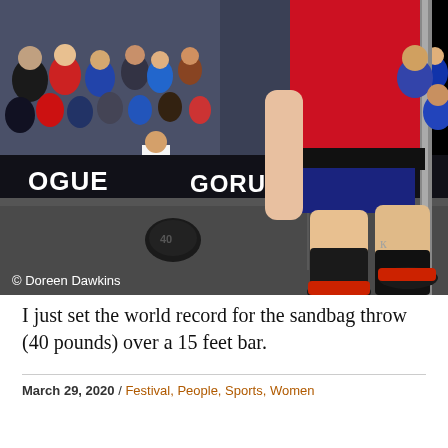[Figure (photo): Action photo of a female athlete at a strongman/fitness competition jumping or celebrating after a throw. She wears a red 'Record Breaker ROGUE' shirt, dark shorts, black compression socks, and red/black lifting shoes. In the background is a large arena crowd and banners reading 'ROGUE' and 'GORUCK'. A sandbag is visible on the floor. Photo credit: © Doreen Dawkins.]
I just set the world record for the sandbag throw (40 pounds) over a 15 feet bar.
March 29, 2020 / Festival, People, Sports, Women